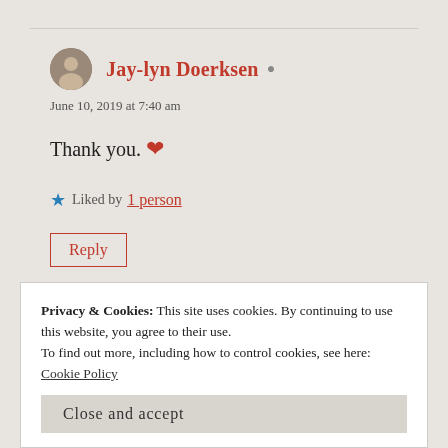Jay-lyn Doerksen
June 10, 2019 at 7:40 am
Thank you. ❤
★ Liked by 1 person
Reply
Privacy & Cookies: This site uses cookies. By continuing to use this website, you agree to their use.
To find out more, including how to control cookies, see here:
Cookie Policy
Close and accept